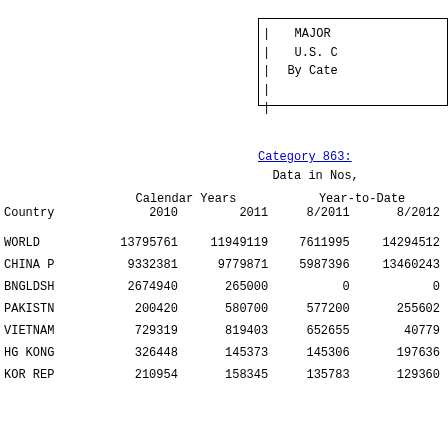MAJOR
U.S. C
By Cate
Category 863:
Data in Nos,
| Country | Calendar Years 2010 | Calendar Years 2011 | Year-to-Date 8/2011 | Year-to-Date 8/2012 |
| --- | --- | --- | --- | --- |
| WORLD | 13795761 | 11949119 | 7611995 | 14294512 |
| CHINA P | 9332381 | 9779871 | 5987396 | 13460243 |
| BNGLDSH | 2674940 | 265000 | 0 | 0 |
| PAKISTN | 200420 | 580700 | 577200 | 255602 |
| VIETNAM | 729319 | 819403 | 652655 | 40779 |
| HG KONG | 326448 | 145373 | 145306 | 197636 |
| KOR REP | 210954 | 158345 | 135783 | 129360 |